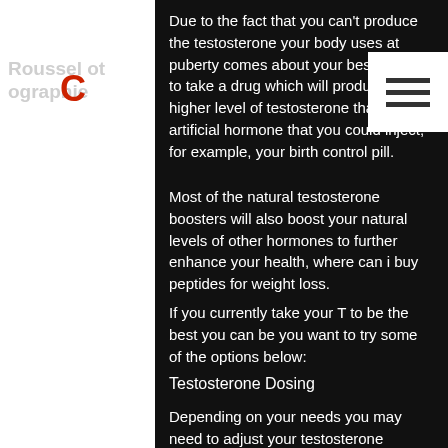Due to the fact that you can't produce the testosterone your body uses at puberty comes about your best bet is to take a drug which will produce a higher level of testosterone than any artificial hormone that you could inject, for example, your birth control pill.
Most of the natural testosterone boosters will also boost your natural levels of other hormones to further enhance your health, where can i buy peptides for weight loss.
If you currently take your T to be the best you can be you want to try some of the options below:
Testosterone Dosing
Depending on your needs you may need to adjust your testosterone dosages based on